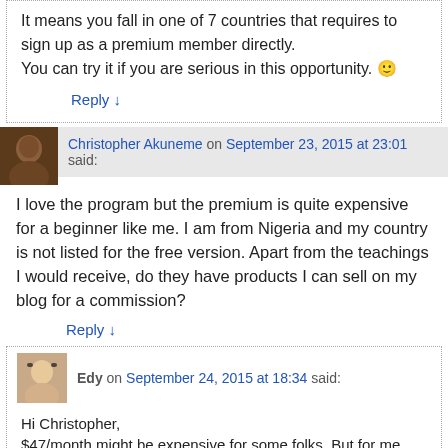It means you fall in one of 7 countries that requires to sign up as a premium member directly.
You can try it if you are serious in this opportunity. 🙂
Reply ↓
Christopher Akuneme on September 23, 2015 at 23:01 said:
I love the program but the premium is quite expensive for a beginner like me. I am from Nigeria and my country is not listed for the free version. Apart from the teachings I would receive, do they have products I can sell on my blog for a commission?
Reply ↓
Edy on September 24, 2015 at 18:34 said:
Hi Christopher,
$47/month might be expensive for some folks. But for me personally it is worth because there are 24/7 Live Chat + robust hosting platform available. You can also get the most updated trainings from over 26 years